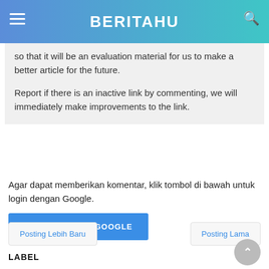BERITAHU
so that it will be an evaluation material for us to make a better article for the future.

Report if there is an inactive link by commenting, we will immediately make improvements to the link.
Agar dapat memberikan komentar, klik tombol di bawah untuk login dengan Google.
LOGIN DENGAN GOOGLE
Posting Lebih Baru
Posting Lama
LABEL